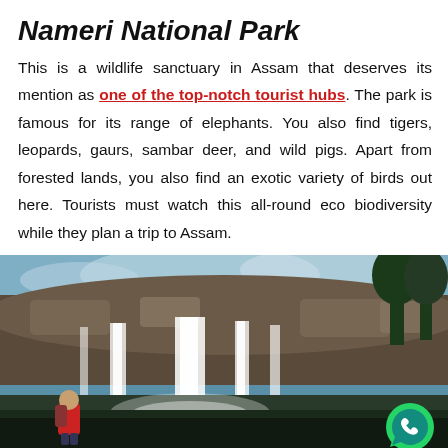Nameri National Park
This is a wildlife sanctuary in Assam that deserves its mention as one of the top-notch tourist hubs. The park is famous for its range of elephants. You also find tigers, leopards, gaurs, sambar deer, and wild pigs. Apart from forested lands, you also find an exotic variety of birds out here. Tourists must watch this all-round eco biodiversity while they plan a trip to Assam.
[Figure (photo): A waterfall cascading over rocky cliffs with a person in a red jacket visible in the lower left corner and trees on the right side against a partly cloudy sky. A WhatsApp icon appears in the lower right corner.]